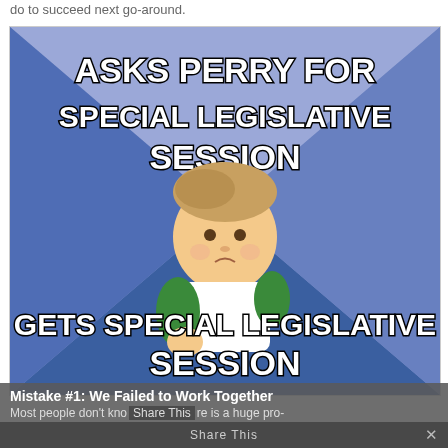do to succeed next go-around.
[Figure (illustration): Internet meme 'Success Kid' — a baby with a fist raised against a blue/purple geometric background. Top text: 'ASKS PERRY FOR SPECIAL LEGISLATIVE SESSION'. Bottom text: 'GETS SPECIAL LEGISLATIVE SESSION'.]
Mistake #1: We Failed to Work Together
Most people don't kno  Share This  re is a huge pro-
Share This